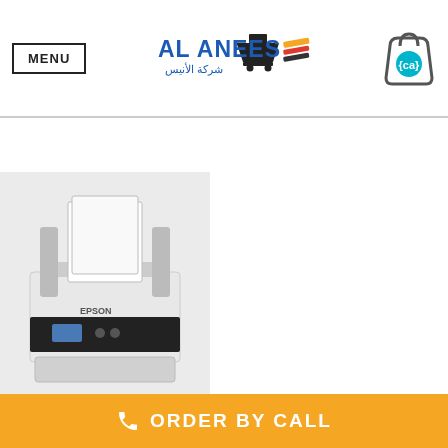MENU | AL ANEES شركة الأنيس | Cart
[Figure (photo): Epson printer product photo on light gray background]
ORDER BY CALL